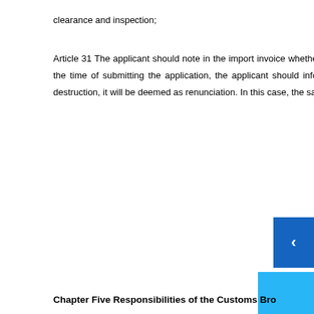clearance and inspection;
Article 31 The applicant should note in the import invoice whether the sample should be returned after the inspection. If the decision can’t be made at the time of submitting the application, the applicant should inform the customs broker after the inspection. If no decision is made by the time for destruction, it will be deemed as renunciation. In this case, the sample shall be submitted to the customs for disposal.
Chapter Five Responsibilities of the Customs Bro…